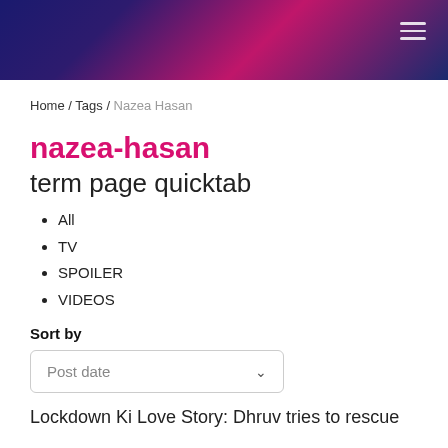Home / Tags / Nazea Hasan
nazea-hasan
term page quicktab
All
TV
SPOILER
VIDEOS
Sort by
Post date
Lockdown Ki Love Story: Dhruv tries to rescue